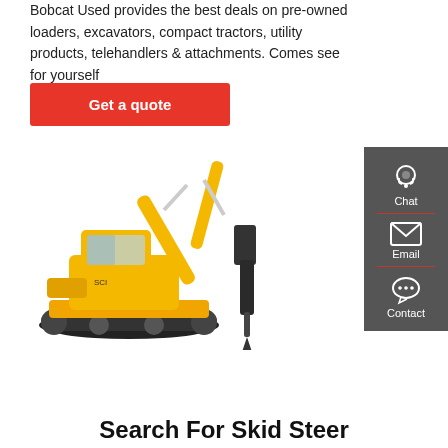Bobcat Used provides the best deals on pre-owned loaders, excavators, compact tractors, utility products, telehandlers & attachments. Comes see for yourself
Get a quote
[Figure (photo): Yellow excavator with hydraulic breaker attachment on white background]
[Figure (infographic): Dark grey sidebar with Chat, Email, and Contact icons and labels]
Search For Skid Steer